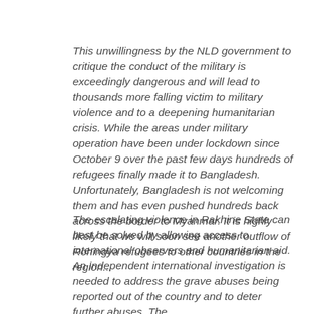This unwillingness by the NLD government to critique the conduct of the military is exceedingly dangerous and will lead to thousands more falling victim to military violence and to a deepening humanitarian crisis. While the areas under military operation have been under lockdown since October 9 over the past few days hundreds of refugees finally made it to Bangladesh. Unfortunately, Bangladesh is not welcoming them and has even pushed hundreds back across the border to Myanmar. It is highly likely that we will soon see another outflow of Rohingya refugees to other countries in the region...
The escalating violence in Rakhine State can best be solved by allowing access to international observers and humanitarian aid. An independent international investigation is needed to address the grave abuses being reported out of the country and to deter further abuses. The